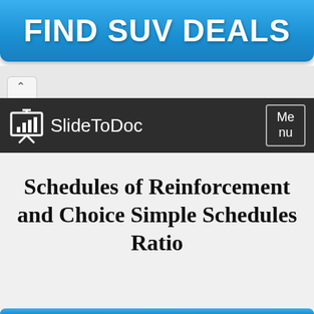[Figure (screenshot): Blue advertisement banner with white bold text reading FIND SUV DEALS]
[Figure (screenshot): Browser tab/chrome area with up-arrow icon]
[Figure (screenshot): SlideToDoc website navigation bar with logo and Menu button]
Schedules of Reinforcement and Choice Simple Schedules Ratio
[Figure (screenshot): Partial blue button at bottom of page]